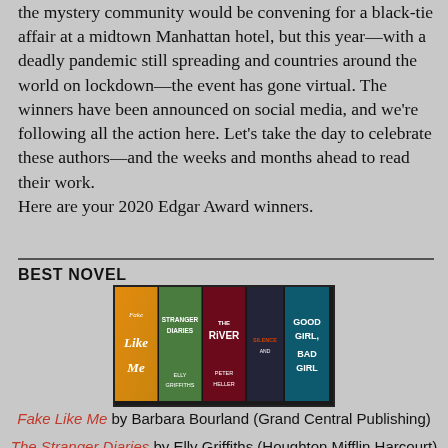the mystery community would be convening for a black-tie affair at a midtown Manhattan hotel, but this year—with a deadly pandemic still spreading and countries around the world on lockdown—the event has gone virtual. The winners have been announced on social media, and we're following all the action here. Let's take the day to celebrate these authors—and the weeks and months ahead to read their work.
Here are your 2020 Edgar Award winners.
BEST NOVEL
[Figure (photo): Five book covers side by side: Fake Like Me, Stranger Diaries, The River, [fourth book], Good Girl Bad Girl]
Fake Like Me by Barbara Bourland (Grand Central Publishing)
The Stranger Diaries by Elly Griffiths (Houghton Mifflin Harcourt)
The River by Peter Heller (Alfred A. Knopf...)